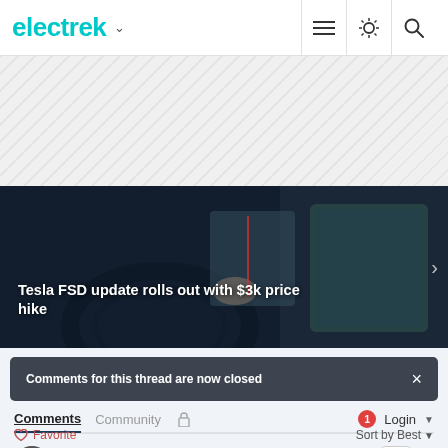electrek
[Figure (photo): Electrek website header with teal logo, hamburger menu, brightness icon, and search icon]
[Figure (photo): Advertisement banner area with diagonal stripe pattern]
[Figure (photo): Hero image showing Tesla interior with steering wheel and center touchscreen, overlaid with article headline]
Tesla FSD update rolls out with $3k price hike
Comments for this thread are now closed
Comments
Community
Login
Favorite
Sort by Best
Married Malt